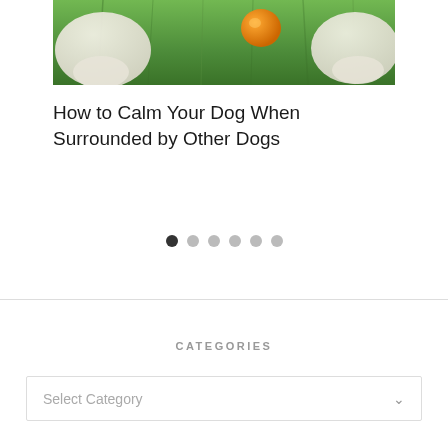[Figure (photo): Dogs on green grass, white dog paws visible with an orange ball]
How to Calm Your Dog When Surrounded by Other Dogs
CATEGORIES